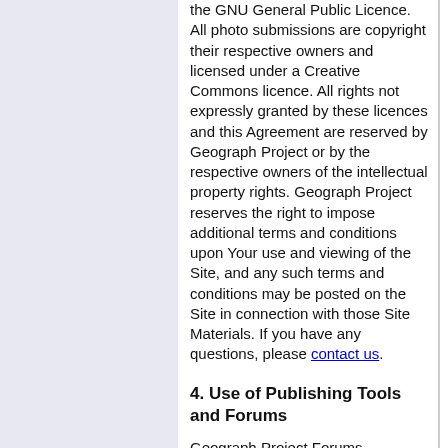the GNU General Public Licence. All photo submissions are copyright their respective owners and licensed under a Creative Commons licence. All rights not expressly granted by these licences and this Agreement are reserved by Geograph Project or by the respective owners of the intellectual property rights. Geograph Project reserves the right to impose additional terms and conditions upon Your use and viewing of the Site, and any such terms and conditions may be posted on the Site in connection with those Site Materials. If you have any questions, please contact us.
4. Use of Publishing Tools and Forums
Geograph Project Forums (accessible through the Site's